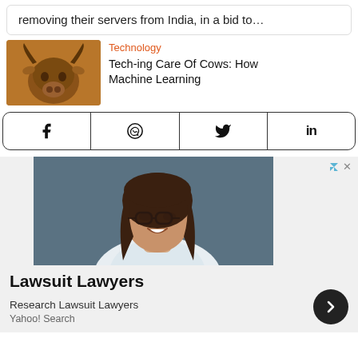removing their servers from India, in a bid to…
Technology
Tech-ing Care Of Cows: How Machine Learning
[Figure (photo): Photo of a cow with horns against a warm background]
[Figure (other): Social share bar with Facebook, WhatsApp, Twitter, and LinkedIn icons]
[Figure (photo): Advertisement photo of a smiling woman with glasses and long brown hair wearing a white blazer against a grey background]
Lawsuit Lawyers
Research Lawsuit Lawyers
Yahoo! Search